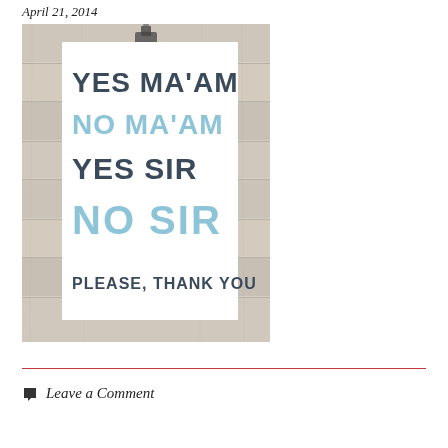April 21, 2014
[Figure (photo): A decorative typography poster hung by a binder clip against a whitewashed wood plank background. The poster reads: YES MA'AM (dark navy), NO MA'AM (light blue), YES SIR (dark navy), NO SIR (light blue), PLEASE, THANK YOU (dark navy, smaller text).]
Leave a Comment